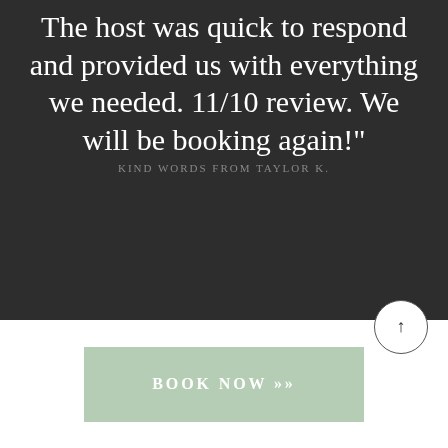The host was quick to respond and provided us with everything we needed. 11/10 review. We will be booking again!"
KIND WORDS FROM TAYLOR K.
BOOK NOW »»